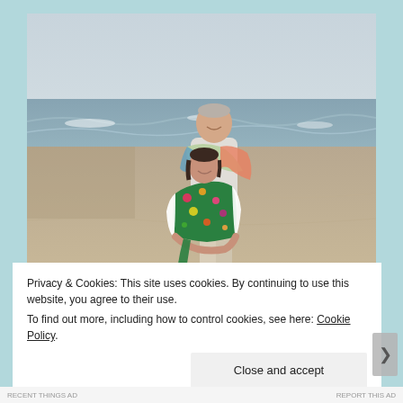[Figure (photo): A couple standing on a beach. A tall man with grey hair wearing a colorful striped shawl and light trousers hugs a shorter woman wearing a white cardigan over a bright floral green dress. They are smiling, standing on sandy beach with ocean waves in the background under a cloudy sky.]
Privacy & Cookies: This site uses cookies. By continuing to use this website, you agree to their use.
To find out more, including how to control cookies, see here: Cookie Policy
Close and accept